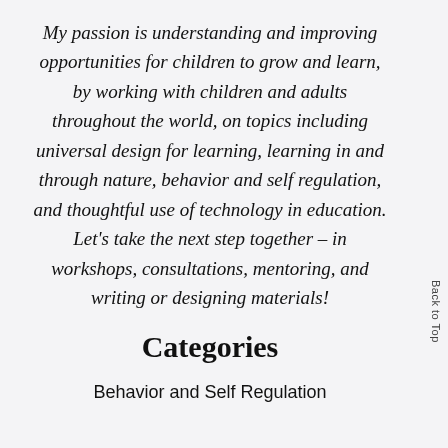My passion is understanding and improving opportunities for children to grow and learn, by working with children and adults throughout the world, on topics including universal design for learning, learning in and through nature, behavior and self regulation, and thoughtful use of technology in education. Let's take the next step together – in workshops, consultations, mentoring, and writing or designing materials!
Categories
Behavior and Self Regulation
Back to Top